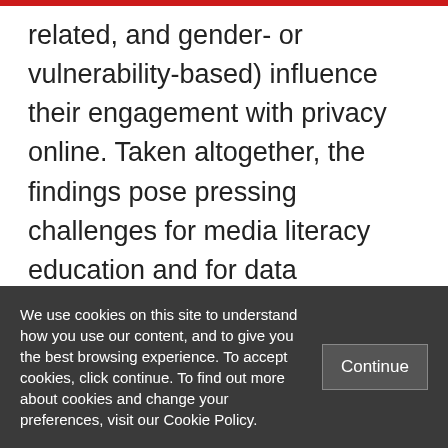related, and gender- or vulnerability-based) influence their engagement with privacy online. Taken altogether, the findings pose pressing challenges for media literacy education and for data protection regulation. They also show how both kinds of policy response would benefit from greater attention to children's voices and their heterogeneous experiences, competencies and rights.
We use cookies on this site to understand how you use our content, and to give you the best browsing experience. To accept cookies, click continue. To find out more about cookies and change your preferences, visit our Cookie Policy.